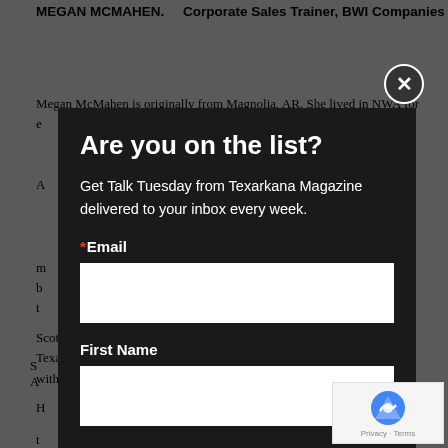MEGAN MCMAHEN.    Corporate Sales Trainer, BWI Companies
Megan McMahen is originally from Magnolia, AR. She lived in NWA for e...
[Figure (screenshot): Modal popup overlay with newsletter signup form on dark background. Title: 'Are you on the list?'. Body: 'Get Talk Tuesday from Texarkana Magazine delivered to your inbox every week.' Fields: Email (required), First Name. Close button (X) in top-right corner.]
Scott Megason is a lifelong resident of Texarkana. He is a gra... Texas High School and Texarkana College. Scott began his ca... with the Texarkana Arkansas Police Department in March of 1992. He...